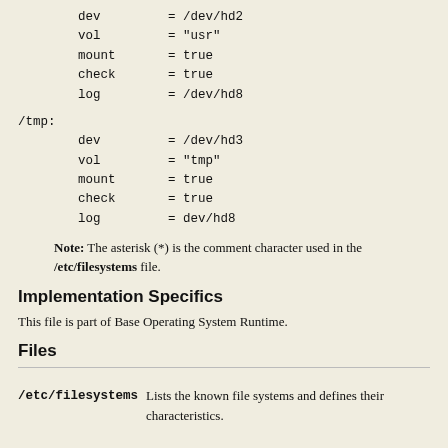dev = /dev/hd2
vol = "usr"
mount = true
check = true
log = /dev/hd8
/tmp:
    dev = /dev/hd3
    vol = "tmp"
    mount = true
    check = true
    log = dev/hd8
Note: The asterisk (*) is the comment character used in the /etc/filesystems file.
Implementation Specifics
This file is part of Base Operating System Runtime.
Files
/etc/filesystems   Lists the known file systems and defines their characteristics.